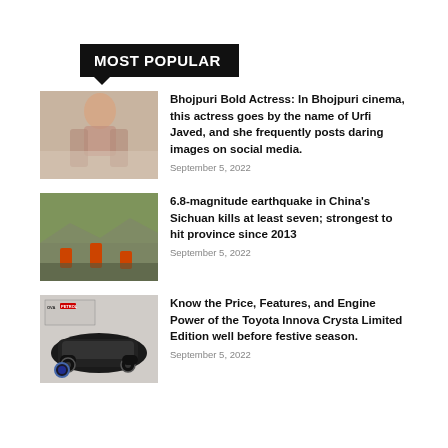MOST POPULAR
[Figure (photo): Woman on beach in colorful bikini]
Bhojpuri Bold Actress: In Bhojpuri cinema, this actress goes by the name of Urfi Javed, and she frequently posts daring images on social media.
September 5, 2022
[Figure (photo): Rockslide/earthquake damage scene with rescue workers in orange]
6.8-magnitude earthquake in China's Sichuan kills at least seven; strongest to hit province since 2013
September 5, 2022
[Figure (photo): Toyota Innova Crysta Limited Edition car with OVA PETROL branding]
Know the Price, Features, and Engine Power of the Toyota Innova Crysta Limited Edition well before festive season.
September 5, 2022